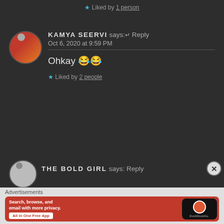★ Liked by 1 person
KAMYA SEERVI says: ← Reply
Oct 6, 2020 at 9:59 PM
Ohkay 😂😂
★ Liked by 2 people
THE BOLD GIRL says: Reply
[Figure (screenshot): DuckDuckGo advertisement banner: orange background with text 'Search, browse, and email with more privacy. All in One Free App' and a phone showing the DuckDuckGo logo]
Advertisements